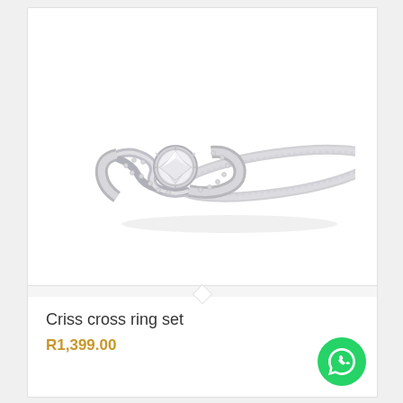[Figure (photo): Two silver diamond rings forming a criss cross ring set — an engagement ring with a round diamond center stone and pavé-set band, and a matching slim pavé wedding band, photographed on white background]
Criss cross ring set
R1,399.00
[Figure (logo): WhatsApp green circular button icon in bottom right corner]